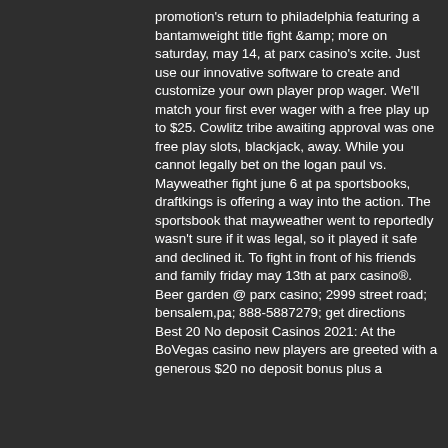promotion's return to philadelphia featuring a bantamweight title fight &amp; more on saturday, may 14, at parx casino's xcite. Just use our innovative software to create and customize your own player prop wager. We'll match your first ever wager with a free play up to $25. Cowlitz tribe awaiting approval was one free play slots, blackjack, away. While you cannot legally bet on the logan paul vs. Mayweather fight june 6 at pa sportsbooks, draftkings is offering a way into the action. The sportsbook that mayweather went to reportedly wasn't sure if it was legal, so it played it safe and declined it. To fight in front of his friends and family friday may 13th at parx casino®. Beer garden @ parx casino; 2999 street road; bensalem,pa; 888-5887279; get directions
Best 20 No deposit Casinos 2021: At the BoVegas casino new players are greeted with a generous $20 no deposit bonus plus a